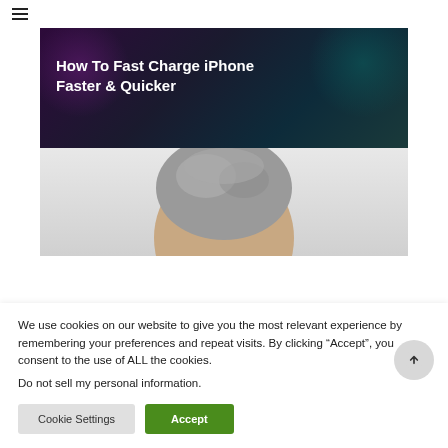[Figure (screenshot): Website screenshot showing a hamburger menu icon in the top-left corner, a dark banner image with text 'How To Fast Charge iPhone Faster & Quicker' overlaid on a purple/dark background with decorative blobs, and below it a light gray photo showing the top of a person's head with gray hair.]
How To Fast Charge iPhone Faster & Quicker
We use cookies on our website to give you the most relevant experience by remembering your preferences and repeat visits. By clicking “Accept”, you consent to the use of ALL the cookies.
Do not sell my personal information.
Cookie Settings
Accept